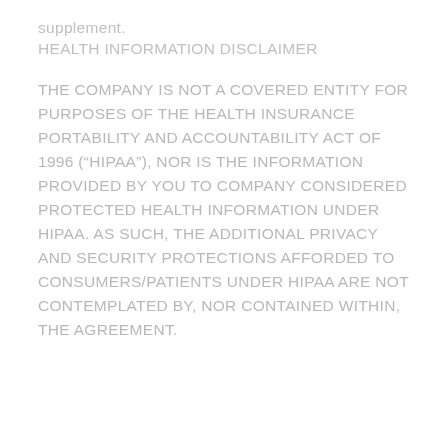supplement.
HEALTH INFORMATION DISCLAIMER
THE COMPANY IS NOT A COVERED ENTITY FOR PURPOSES OF THE HEALTH INSURANCE PORTABILITY AND ACCOUNTABILITY ACT OF 1996 (“HIPAA”), NOR IS THE INFORMATION PROVIDED BY YOU TO COMPANY CONSIDERED PROTECTED HEALTH INFORMATION UNDER HIPAA. AS SUCH, THE ADDITIONAL PRIVACY AND SECURITY PROTECTIONS AFFORDED TO CONSUMERS/PATIENTS UNDER HIPAA ARE NOT CONTEMPLATED BY, NOR CONTAINED WITHIN, THE AGREEMENT.